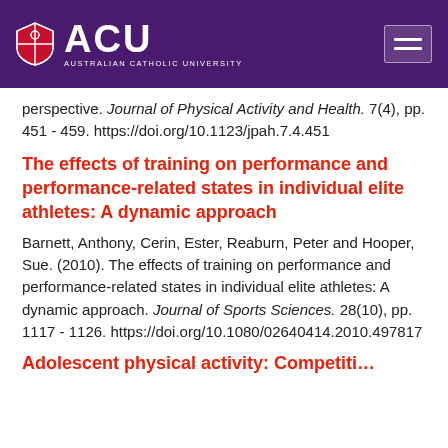[Figure (logo): ACU (Australian Catholic University) logo on purple header bar with hamburger menu button]
perspective. Journal of Physical Activity and Health. 7(4), pp. 451 - 459. https://doi.org/10.1123/jpah.7.4.451
The effects of training on performance and performance-related states in individual elite athletes: A dynamic approach
Barnett, Anthony, Cerin, Ester, Reaburn, Peter and Hooper, Sue. (2010). The effects of training on performance and performance-related states in individual elite athletes: A dynamic approach. Journal of Sports Sciences. 28(10), pp. 1117 - 1126. https://doi.org/10.1080/02640414.2010.497817
Adolescent physical activity: Competition...